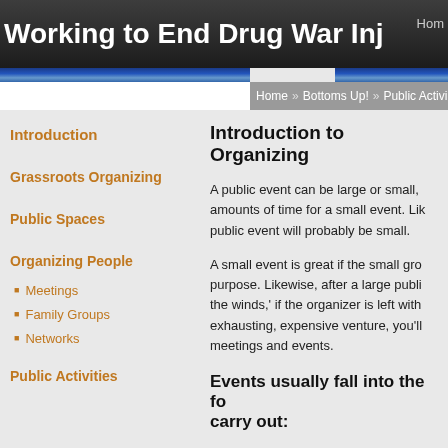Working to End Drug War Inj
Home
Home » Bottoms Up! » Public Activi
Introduction
Grassroots Organizing
Public Spaces
Organizing People
Meetings
Family Groups
Networks
Public Activities
Introduction to Organizing
A public event can be large or small, amounts of time for a small event. Lik public event will probably be small.
A small event is great if the small gro purpose. Likewise, after a large publi the winds,' if the organizer is left with exhausting, expensive venture, you'll meetings and events.
Events usually fall into the fo carry out: